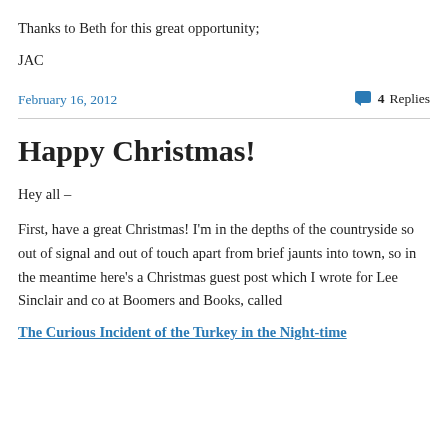Thanks to Beth for this great opportunity;
JAC
February 16, 2012
4 Replies
Happy Christmas!
Hey all –
First, have a great Christmas! I'm in the depths of the countryside so out of signal and out of touch apart from brief jaunts into town, so in the meantime here's a Christmas guest post which I wrote for Lee Sinclair and co at Boomers and Books, called
The Curious Incident of the Turkey in the Night-time